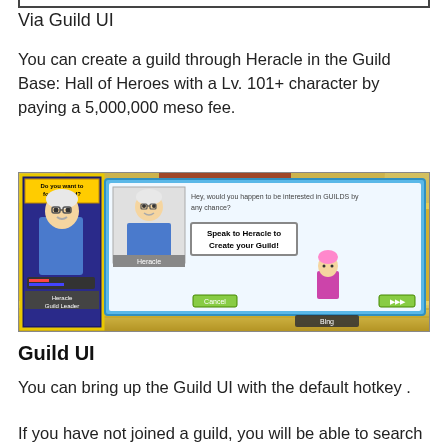Via Guild UI
You can create a guild through Heracle in the Guild Base: Hall of Heroes with a Lv. 101+ character by paying a 5,000,000 meso fee.
[Figure (screenshot): Screenshot of a MapleStory game showing Heracle the Guild Leader NPC with a dialog box saying 'Hey, would you happen to be interested in GUILDS by any chance?' and a button reading 'Speak to Heracle to Create your Guild!']
Guild UI
You can bring up the Guild UI with the default hotkey .
If you have not joined a guild, you will be able to search through guilds that are currently promoting